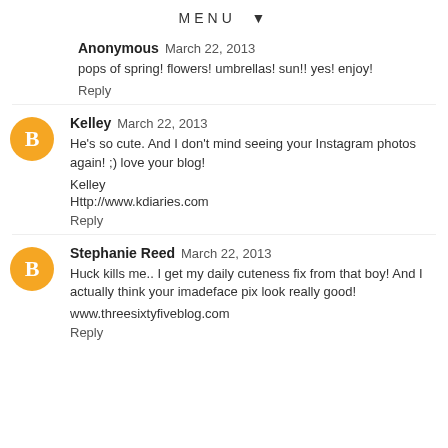MENU ▼
Anonymous  March 22, 2013
pops of spring! flowers! umbrellas! sun!! yes! enjoy!
Reply
Kelley  March 22, 2013
He's so cute. And I don't mind seeing your Instagram photos again! ;) love your blog!
Kelley
Http://www.kdiaries.com
Reply
Stephanie Reed  March 22, 2013
Huck kills me.. I get my daily cuteness fix from that boy! And I actually think your imadeface pix look really good!
www.threesixtyfiveblog.com
Reply